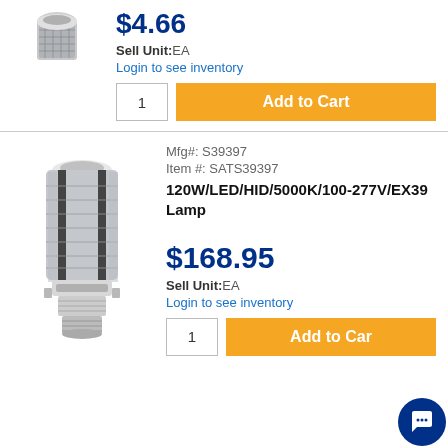$4.66
Sell Unit: EA
Login to see inventory
1
Add to Cart
[Figure (photo): LED corn lamp bulb with screw base, top portion visible]
Mfg#: S39397
Item #: SATS39397
120W/LED/HID/5000K/100-277V/EX39 Lamp
$168.95
Sell Unit: EA
Login to see inventory
1
Add to Cart